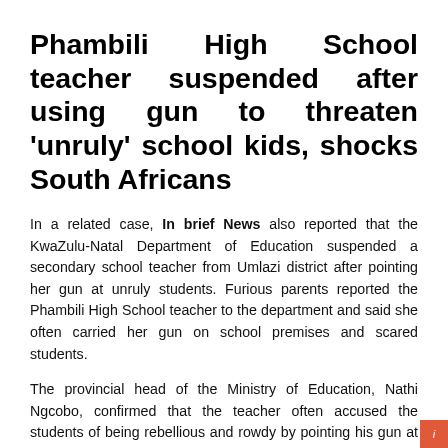Phambili High School teacher suspended after using gun to threaten 'unruly' school kids, shocks South Africans
In a related case, In brief News also reported that the KwaZulu-Natal Department of Education suspended a secondary school teacher from Umlazi district after pointing her gun at unruly students. Furious parents reported the Phambili High School teacher to the department and said she often carried her gun on school premises and scared students.
The provincial head of the Ministry of Education, Nathi Ngcobo, confirmed that the teacher often accused the students of being rebellious and rowdy by pointing his gun at them, according to SchedulesLIVE.